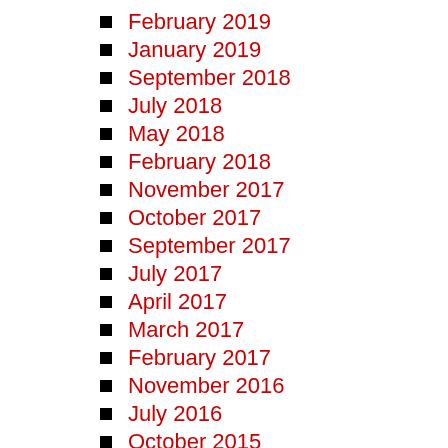February 2019
January 2019
September 2018
July 2018
May 2018
February 2018
November 2017
October 2017
September 2017
July 2017
April 2017
March 2017
February 2017
November 2016
July 2016
October 2015